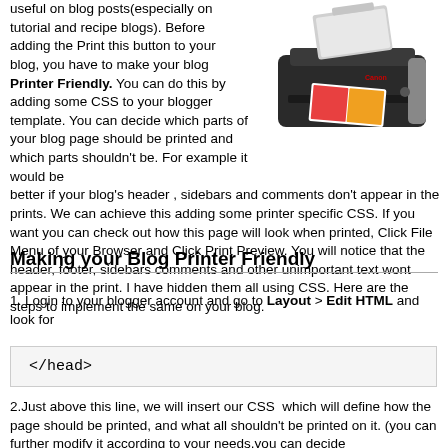useful on blog posts(especially on tutorial and recipe blogs). Before adding the Print this button to your blog, you have to make your blog Printer Friendly. You can do this by adding some CSS to your blogger template. You can decide which parts of your blog page should be printed and which parts shouldn't be. For example it would be better if your blog's header , sidebars and comments don't appear in the prints. We can achieve this adding some printer specific CSS. If you want you can check out how this page will look when printed, Click File Menu of your Browser and Click Print Preview. You will notice that the header, footer, sidebars comments and other unimportant text wont appear in the print. I have hidden them all using CSS. Here are the steps to implement the same on your blog.
[Figure (photo): Photo of a Canon inkjet printer printing a colorful image]
Making your Blog Printer Friendly
1. Login to your blogger account and go to Layout > Edit HTML and look for
</head>
2.Just above this line, we will insert our CSS  which will define how the page should be printed, and what all shouldn't be printed on it. (you can further modify it according to your needs,you can decide